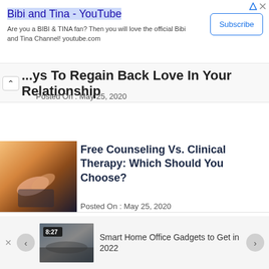[Figure (screenshot): Advertisement banner for Bibi and Tina YouTube channel with Subscribe button]
...ys To Regain Back Love In Your Relationship
Posted On : May 25, 2020
[Figure (photo): Photo of hands, possibly counseling session]
Free Counseling Vs. Clinical Therapy: Which Should You Choose?
Posted On : May 25, 2020
[Figure (screenshot): Bottom navigation bar with thumbnail of Smart Home Office Gadgets article showing a clock display 8:27]
Smart Home Office Gadgets to Get in 2022